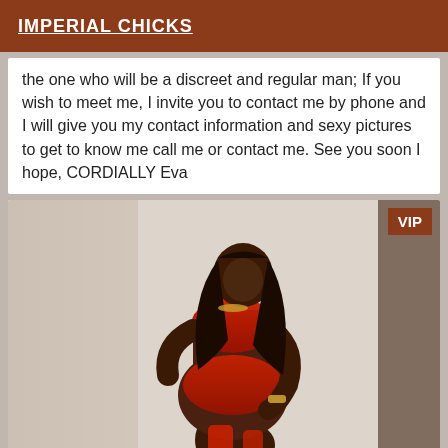IMPERIAL CHICKS
the one who will be a discreet and regular man; If you wish to meet me, I invite you to contact me by phone and I will give you my contact information and sexy pictures to get to know me call me or contact me. See you soon I hope, CORDIALLY Eva
[Figure (photo): Woman in red lingerie posing, VIP badge in top right corner]